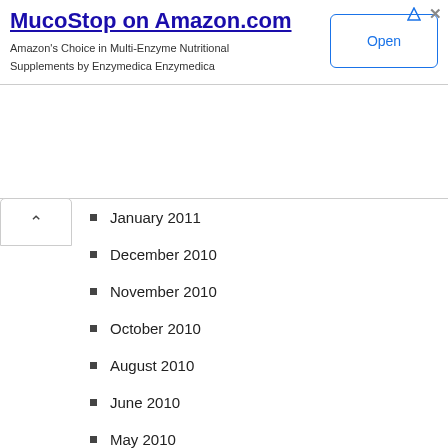[Figure (screenshot): Advertisement banner for MucoStop on Amazon.com with Open button]
January 2011
December 2010
November 2010
October 2010
August 2010
June 2010
May 2010
April 2010
March 2010
February 2010
January 2010
December 2009
November 2009